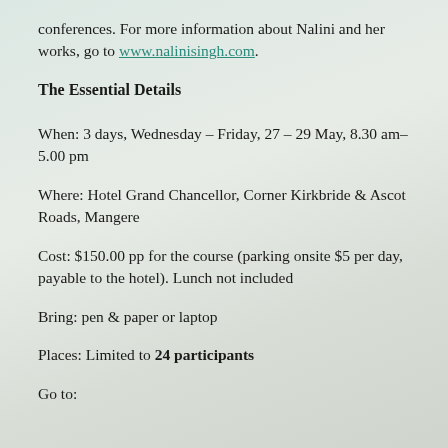conferences. For more information about Nalini and her works, go to www.nalinisingh.com.
The Essential Details
When: 3 days, Wednesday – Friday, 27 – 29 May, 8.30 am–5.00 pm
Where: Hotel Grand Chancellor, Corner Kirkbride & Ascot Roads, Mangere
Cost: $150.00 pp for the course (parking onsite $5 per day, payable to the hotel). Lunch not included
Bring: pen & paper or laptop
Places: Limited to 24 participants
Go to: